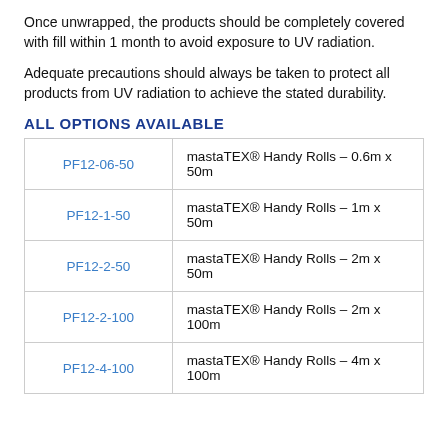Once unwrapped, the products should be completely covered with fill within 1 month to avoid exposure to UV radiation.
Adequate precautions should always be taken to protect all products from UV radiation to achieve the stated durability.
ALL OPTIONS AVAILABLE
| Code | Description |
| --- | --- |
| PF12-06-50 | mastaTEX® Handy Rolls – 0.6m x 50m |
| PF12-1-50 | mastaTEX® Handy Rolls – 1m x 50m |
| PF12-2-50 | mastaTEX® Handy Rolls – 2m x 50m |
| PF12-2-100 | mastaTEX® Handy Rolls – 2m x 100m |
| PF12-4-100 | mastaTEX® Handy Rolls – 4m x 100m |